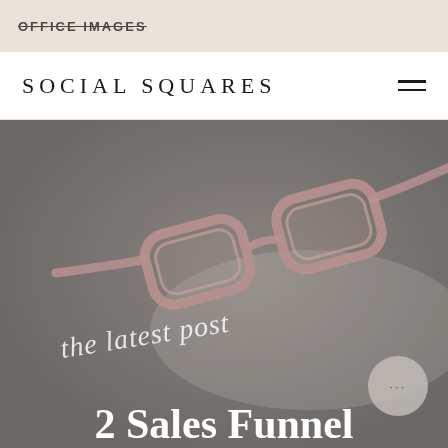OFFICE IMAGES
SOCIAL SQUARES
[Figure (photo): A photo of rose/mauve colored eyeglasses resting on a white surface, viewed from above at an angle, with a muted grey-brown overlay. Overlaid script text reads 'the latest post' in white italic script. Below that in large white bold serif text: '2 Sales Funnel']
the latest post
2 Sales Funnel